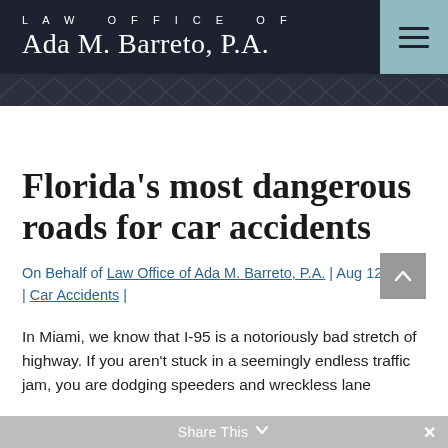LAW OFFICE OF Ada M. Barreto, P.A.
Florida's most dangerous roads for car accidents
On Behalf of Law Office of Ada M. Barreto, P.A. | Aug 12, 2020 | Car Accidents |
In Miami, we know that I-95 is a notoriously bad stretch of highway. If you aren't stuck in a seemingly endless traffic jam, you are dodging speeders and wreckless lane